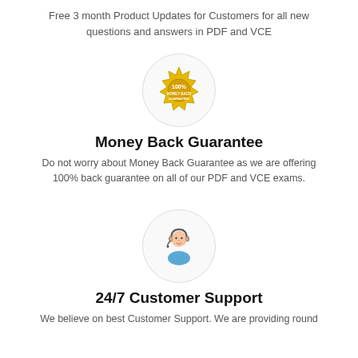Free 3 month Product Updates for Customers for all new questions and answers in PDF and VCE
[Figure (illustration): Gold 100% Money Back Guarantee badge/seal inside a light gray circle]
Money Back Guarantee
Do not worry about Money Back Guarantee as we are offering 100% back guarantee on all of our PDF and VCE exams.
[Figure (illustration): Cartoon customer support agent with headset inside a light gray circle]
24/7 Customer Support
We believe on best Customer Support. We are providing round